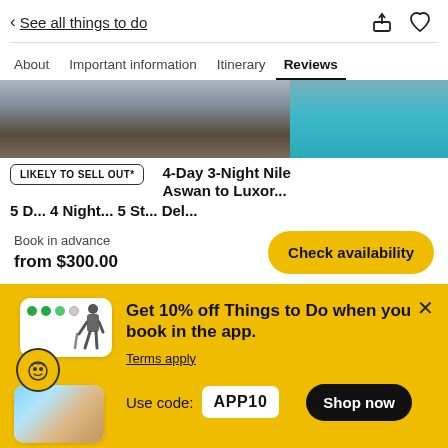< See all things to do
About  Important information  Itinerary  Reviews
[Figure (photo): Two images: left showing wooden deck/water surface, right showing pool/water edge]
LIKELY TO SELL OUT*
4-Day 3-Night Nile
Aswan to Luxor...
Book in advance
from $300.00
Check availability
Get 10% off Things to Do when you book in the app.
Terms apply
Use code: APP10
Shop now